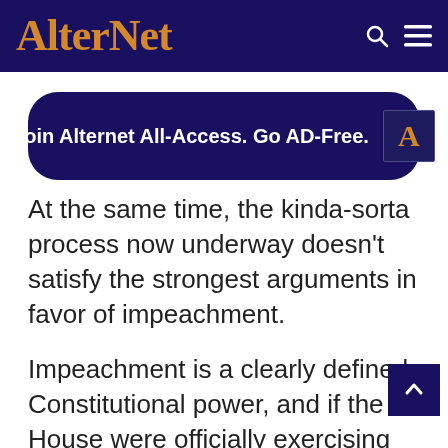AlterNet
Join Alternet All-Access. Go AD-Free.
At the same time, the kinda-sorta process now underway doesn't satisfy the strongest arguments in favor of impeachment.
Impeachment is a clearly defined Constitutional power, and if the House were officially exercising that power it would render the regime's legal claims that Congress's oversight requests are illegitimate moot. These